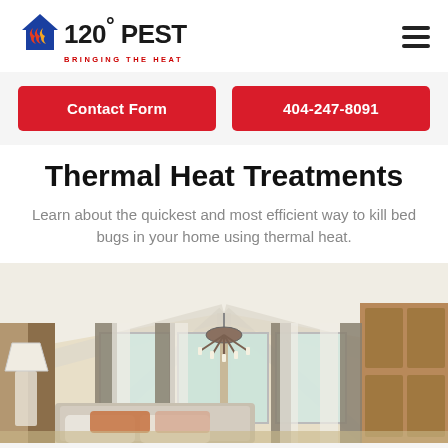120° PEST — BRINGING THE HEAT
Contact Form
404-247-8091
Thermal Heat Treatments
Learn about the quickest and most efficient way to kill bed bugs in your home using thermal heat.
[Figure (photo): Interior bedroom with vaulted white ceiling, chandelier, white curtains, bed with pillows, and wood cabinetry]